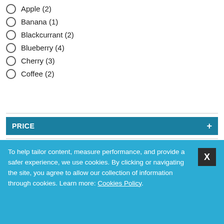Apple (2)
Banana (1)
Blackcurrant (2)
Blueberry (4)
Cherry (3)
Coffee (2)
PRICE +
FEATURED PRODUCTS
[Figure (photo): Four product bottles (Halo brand e-liquid) displayed in separate white cards inside a light grey container]
To help tailor content, measure performance, and provide a safer experience, we use cookies. By clicking or navigating the site, you agree to allow our collection of information through cookies. Learn more: Cookies Policy.